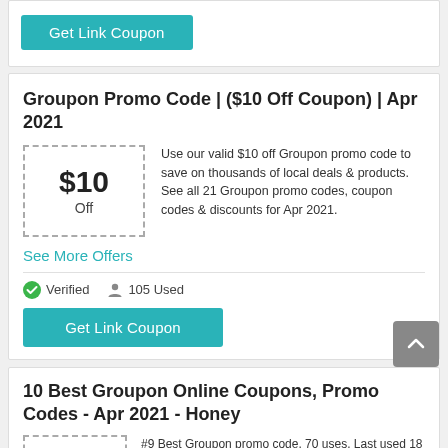[Figure (other): Get Link Coupon button (teal/cyan button)]
Groupon Promo Code | ($10 Off Coupon) | Apr 2021
Use our valid $10 off Groupon promo code to save on thousands of local deals & products. See all 21 Groupon promo codes, coupon codes & discounts for Apr 2021.
See More Offers
Verified   105 Used
[Figure (other): Get Link Coupon button (teal/cyan button)]
10 Best Groupon Online Coupons, Promo Codes - Apr 2021 - Honey
#9 Best Groupon promo code. 70 uses. Last used 18 hours ago. Last saved $1.48. 40%. Off. Coupon. 40% Off.